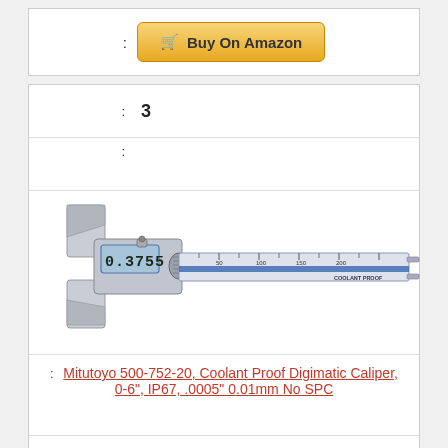: Buy On Amazon
: 3
:
[Figure (photo): Photo of a Mitutoyo digital caliper (Digimatic) showing a measurement of 0.3755 on the LCD display. The caliper has jaws on the left and a long graduated rule extending to the right, with a blue accent stripe.]
: Mitutoyo 500-752-20, Coolant Proof Digimatic Caliper, 0-6", IP67, .0005" 0.01mm No SPC
: $161.79